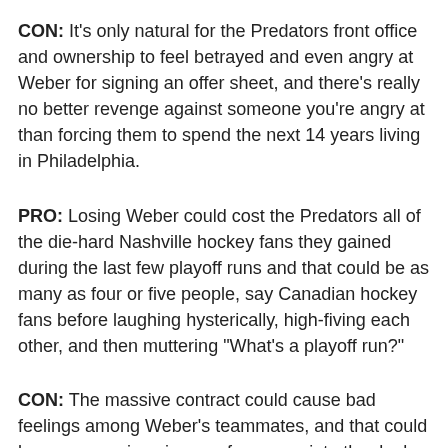CON: It's only natural for the Predators front office and ownership to feel betrayed and even angry at Weber for signing an offer sheet, and there's really no better revenge against someone you're angry at than forcing them to spend the next 14 years living in Philadelphia.
PRO: Losing Weber could cost the Predators all of the die-hard Nashville hockey fans they gained during the last few playoff runs and that could be as many as four or five people, say Canadian hockey fans before laughing hysterically, high-fiving each other, and then muttering "What's a playoff run?"
CON: The massive contract could cause bad feelings among Weber's teammates, and that could become a serious issue a few years into the deal when the Predators can once again afford for him to have some.